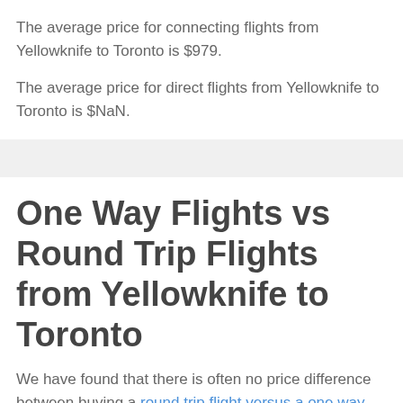The average price for connecting flights from Yellowknife to Toronto is $979.
The average price for direct flights from Yellowknife to Toronto is $NaN.
One Way Flights vs Round Trip Flights from Yellowknife to Toronto
We have found that there is often no price difference between buying a round trip flight versus a one way